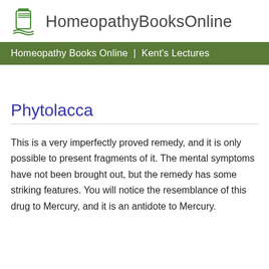HomeopathyBooksOnline
Homeopathy Books Online  |  Kent's Lectures
Phytolacca
This is a very imperfectly proved remedy, and it is only possible to present fragments of it. The mental symptoms have not been brought out, but the remedy has some striking features. You will notice the resemblance of this drug to Mercury, and it is an antidote to Mercury.